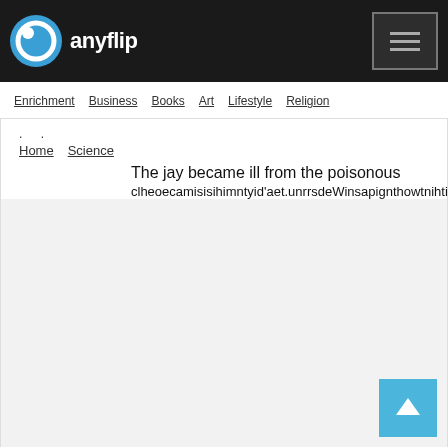anyflip
Enrichment  Business  Books  Art  Lifestyle  Religion
Home  Science
The jay became ill from the poisonous
clheoecamisisihimntyid'aet.unrrsdeWinsapignthowtnihtidaeehliknpe